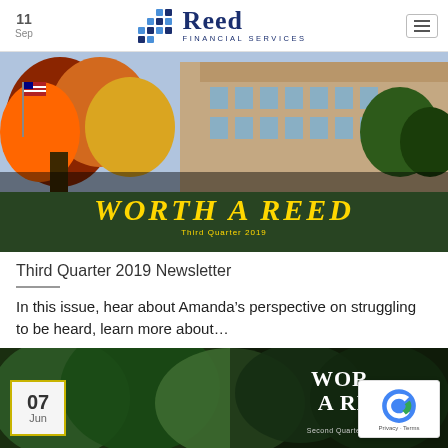11 Sep — Reed Financial Services
[Figure (photo): Autumn scene with orange and red foliage trees in front of a large stone university building, with an American flag visible. Text overlay reads WORTH A REED and Third Quarter 2019.]
Third Quarter 2019 Newsletter
In this issue, hear about Amanda's perspective on struggling to be heard, learn more about...
[Figure (photo): Second article preview showing aerial view of green forest/trees with WORTH A REED text overlay and Second Quarter 2019 subtitle. Date badge shows 07 Jun.]